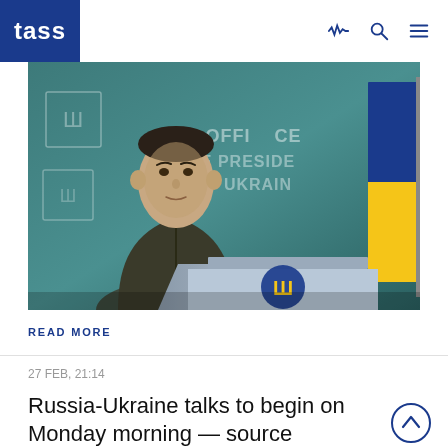TASS
[Figure (photo): Man in olive/dark military-style jacket standing at a podium with Ukrainian coat of arms emblem, in front of a teal background reading 'OFFICE OF THE PRESIDENT OF UKRAINE', with Ukrainian flag visible on right]
READ MORE
27 FEB, 21:14
Russia-Ukraine talks to begin on Monday morning — source